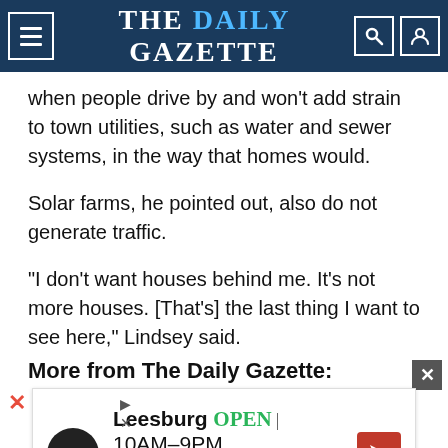THE DAILY GAZETTE
when people drive by and won't add strain to town utilities, such as water and sewer systems, in the way that homes would.
Solar farms, he pointed out, also do not generate traffic.
“I don’t want houses behind me. It’s not more houses. [That’s] the last thing I want to see here,” Lindsey said.
More from The Daily Gazette:
[Figure (other): Advertisement for a Leesburg location: OPEN 10AM-9PM, 241 Fort Evans Rd NE, Leesburg, with navigation icon]